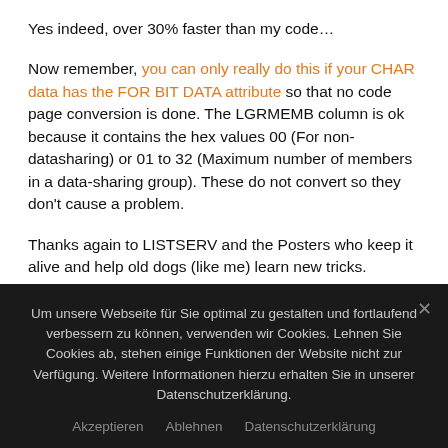Yes indeed, over 30% faster than my code…
Now remember, you can only really do this if your CHAR data has the FOR BIT DATA attribute so that no code page conversion is done. The LGRMEMB column is ok because it contains the hex values 00 (For non-datasharing) or 01 to 32 (Maximum number of members in a data-sharing group). These do not convert so they don't cause a problem.
Thanks again to LISTSERV and the Posters who keep it alive and help old dogs (like me) learn new tricks.
Um unsere Webseite für Sie optimal zu gestalten und fortlaufend verbessern zu können, verwenden wir Cookies. Lehnen Sie Cookies ab, stehen einige Funktionen der Website nicht zur Verfügung. Weitere Informationen hierzu erhalten Sie in unserer Datenschutzerklärung.
Akzeptieren  Ablehnen  Datenschutzerklärung